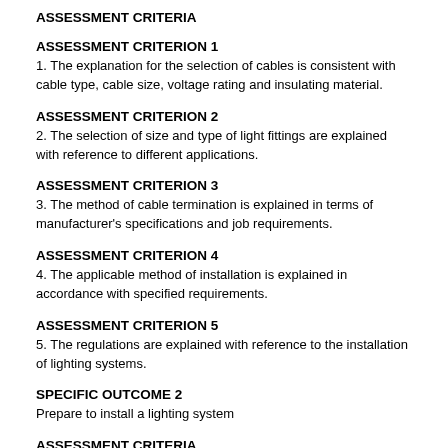ASSESSMENT CRITERIA
ASSESSMENT CRITERION 1
1. The explanation for the selection of cables is consistent with cable type, cable size, voltage rating and insulating material.
ASSESSMENT CRITERION 2
2. The selection of size and type of light fittings are explained with reference to different applications.
ASSESSMENT CRITERION 3
3. The method of cable termination is explained in terms of manufacturer's specifications and job requirements.
ASSESSMENT CRITERION 4
4. The applicable method of installation is explained in accordance with specified requirements.
ASSESSMENT CRITERION 5
5. The regulations are explained with reference to the installation of lighting systems.
SPECIFIC OUTCOME 2
Prepare to install a lighting system
ASSESSMENT CRITERIA